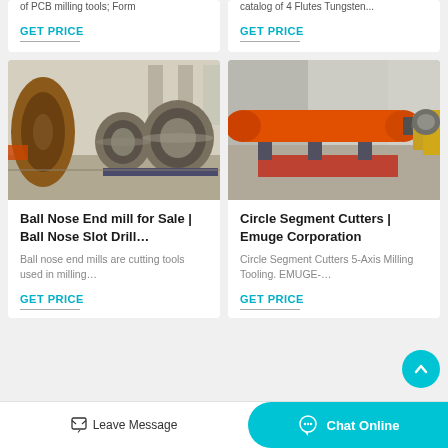of PCB milling tools; Form
catalog of 4 Flutes Tungsten...
GET PRICE
GET PRICE
[Figure (photo): Ball nose end mills / large cylindrical industrial grinding/milling machines in a factory warehouse]
[Figure (photo): Circle segment cutters / large orange industrial cylindrical milling machine lying horizontally in a factory]
Ball Nose End mill for Sale | Ball Nose Slot Drill…
Circle Segment Cutters | Emuge Corporation
Ball nose end mills are cutting tools used in milling…
Circle Segment Cutters 5-Axis Milling Tooling. EMUGE-…
GET PRICE
GET PRICE
Leave Message
Chat Online